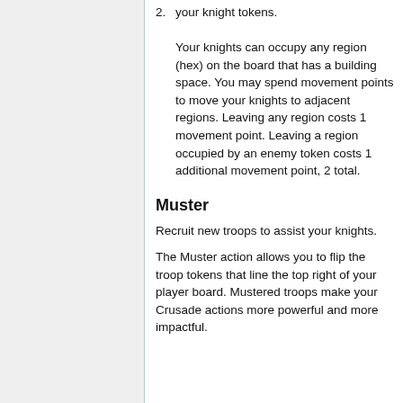2. Your knights can occupy any region (hex) on the board that has a building space. You may spend movement points to move your knights to adjacent regions. Leaving any region costs 1 movement point. Leaving a region occupied by an enemy token costs 1 additional movement point, 2 total.
Muster
Recruit new troops to assist your knights.
The Muster action allows you to flip the troop tokens that line the top right of your player board. Mustered troops make your Crusade actions more powerful and more impactful.